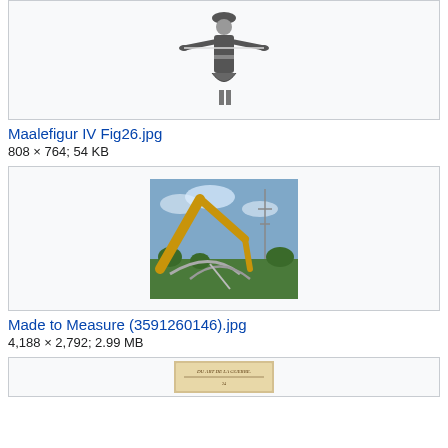[Figure (photo): Black-and-white illustration of a person in traditional costume with arms outstretched]
Maalefigur IV Fig26.jpg
808 × 764; 54 KB
[Figure (photo): Color photograph of a yellow construction machine/excavator arm among debris with sky in background]
Made to Measure (3591260146).jpg
4,188 × 2,792; 2.99 MB
[Figure (photo): Partial view of what appears to be an old book or document with text 'DU ART DE LA GUERRE']